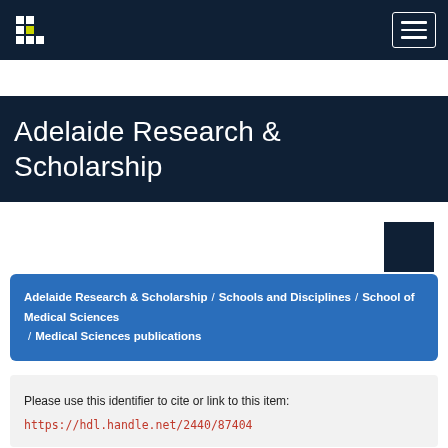Adelaide Research & Scholarship
Adelaide Research & Scholarship
Adelaide Research & Scholarship / Schools and Disciplines / School of Medical Sciences / Medical Sciences publications
Please use this identifier to cite or link to this item: https://hdl.handle.net/2440/87404